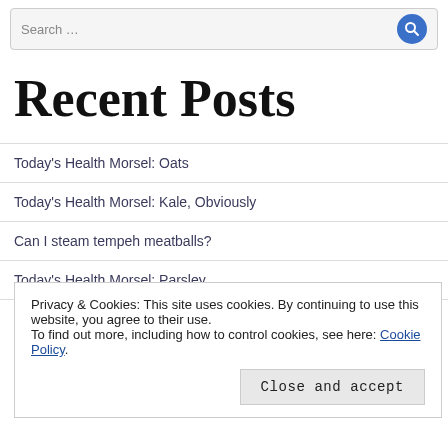Search …
Recent Posts
Today's Health Morsel: Oats
Today's Health Morsel: Kale, Obviously
Can I steam tempeh meatballs?
Today's Health Morsel: Parsley
Recipe Review: Mushroom gravy
Privacy & Cookies: This site uses cookies. By continuing to use this website, you agree to their use. To find out more, including how to control cookies, see here: Cookie Policy
Close and accept